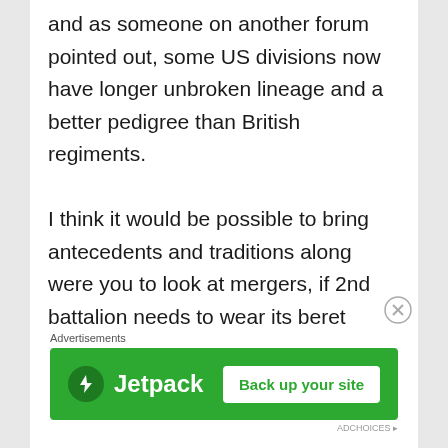and as someone on another forum pointed out, some US divisions now have longer unbroken lineage and a better pedigree than British regiments.
I think it would be possible to bring antecedents and traditions along were you to look at mergers, if 2nd battalion needs to wear its beret backwards or sing to the regimental duck every Tuesday it's not really a problem, all adds to the mystery.
A larger regiment evens out recruitment and day to day administrative issues and unless
[Figure (screenshot): Jetpack advertisement banner with green background. Left side shows Jetpack logo (lightning bolt in circle) and 'Jetpack' text in white. Right side shows white button with green text 'Back up your site'. Above banner is label 'Advertisements'.]